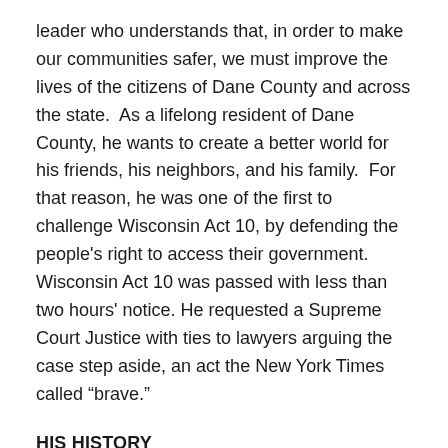leader who understands that, in order to make our communities safer, we must improve the lives of the citizens of Dane County and across the state.  As a lifelong resident of Dane County, he wants to create a better world for his friends, his neighbors, and his family.  For that reason, he was one of the first to challenge Wisconsin Act 10, by defending the people's right to access their government.  Wisconsin Act 10 was passed with less than two hours' notice. He requested a Supreme Court Justice with ties to lawyers arguing the case step aside, an act the New York Times called “brave.”
HIS HISTORY
His mother, Gwen Gillon is a noted civil rights activist.  In 1964, at the age of 17 she was the youngest member of the Student Non-violent Coordinating Committee (SNCC),